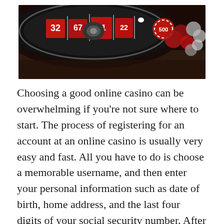[Figure (photo): Close-up photo of a casino roulette wheel with red and black numbered slots, with red and silver casino chips scattered in the background on a dark felt surface.]
Choosing a good online casino can be overwhelming if you're not sure where to start. The process of registering for an account at an online casino is usually very easy and fast. All you have to do is choose a memorable username, and then enter your personal information such as date of birth, home address, and the last four digits of your social security number. After registering your account, you have to read the terms and conditions of the site before you start playing.
Some live casino sites require a minimum